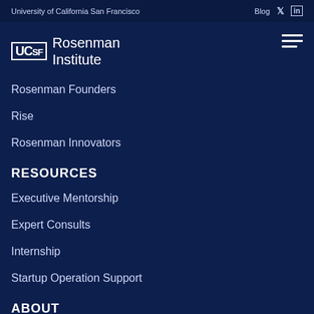University of California San Francisco  Blog  Twitter  LinkedIn
UCSF Rosenman Institute
Rosenman Founders
Rise
Rosenman Innovators
RESOURCES
Executive Mentorship
Expert Consults
Internship
Startup Operation Support
ABOUT